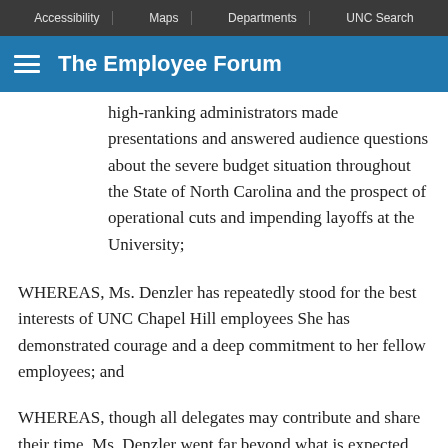Accessibility | Maps | Departments | UNC Search
The Employee Forum
high-ranking administrators made presentations and answered audience questions about the severe budget situation throughout the State of North Carolina and the prospect of operational cuts and impending layoffs at the University;
WHEREAS, Ms. Denzler has repeatedly stood for the best interests of UNC Chapel Hill employees She has demonstrated courage and a deep commitment to her fellow employees; and
WHEREAS, though all delegates may contribute and share their time, Ms. Denzler went far beyond what is expected and used her energy and expertise to strengthen the